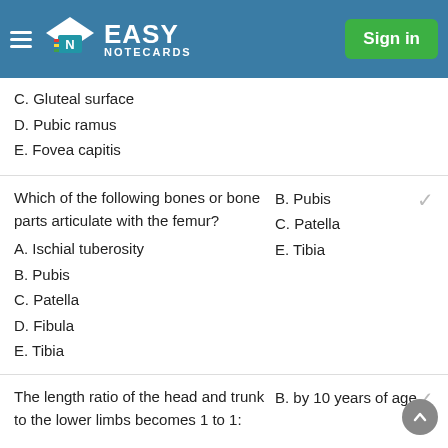Easy Notecards — Sign in
C. Gluteal surface
D. Pubic ramus
E. Fovea capitis
Which of the following bones or bone parts articulate with the femur?
A. Ischial tuberosity
B. Pubis
C. Patella
D. Fibula
E. Tibia
B. Pubis
C. Patella
E. Tibia
The length ratio of the head and trunk to the lower limbs becomes 1 to 1:
B. by 10 years of age